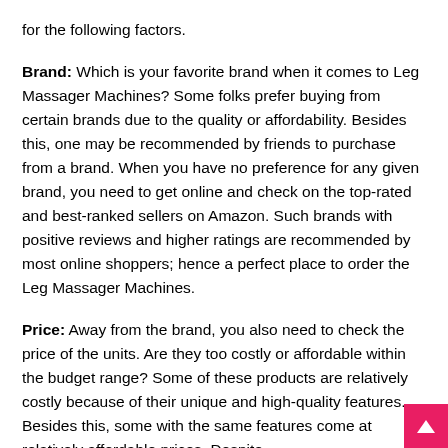for the following factors.
Brand: Which is your favorite brand when it comes to Leg Massager Machines? Some folks prefer buying from certain brands due to the quality or affordability. Besides this, one may be recommended by friends to purchase from a brand. When you have no preference for any given brand, you need to get online and check on the top-rated and best-ranked sellers on Amazon. Such brands with positive reviews and higher ratings are recommended by most online shoppers; hence a perfect place to order the Leg Massager Machines.
Price: Away from the brand, you also need to check the price of the units. Are they too costly or affordable within the budget range? Some of these products are relatively costly because of their unique and high-quality features. Besides this, some with the same features come at relatively affordable prices. Despite